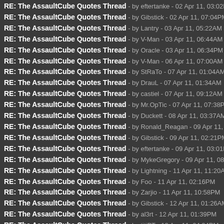RE: The AssaultCube Quotes Thread - by eftertanke - 02 Apr 11, 03:02PM
RE: The AssaultCube Quotes Thread - by Gibstick - 02 Apr 11, 07:04PM
RE: The AssaultCube Quotes Thread - by Lantry - 03 Apr 11, 05:22AM
RE: The AssaultCube Quotes Thread - by V-Man - 03 Apr 11, 06:44AM
RE: The AssaultCube Quotes Thread - by Oracle - 03 Apr 11, 06:34PM
RE: The AssaultCube Quotes Thread - by V-Man - 06 Apr 11, 07:00AM
RE: The AssaultCube Quotes Thread - by StRaTo - 07 Apr 11, 01:04AM
RE: The AssaultCube Quotes Thread - by DrauL - 07 Apr 11, 01:34AM
RE: The AssaultCube Quotes Thread - by castiel - 07 Apr 11, 09:12AM
RE: The AssaultCube Quotes Thread - by Mr.OpTic - 07 Apr 11, 07:38PM
RE: The AssaultCube Quotes Thread - by Duckett - 08 Apr 11, 03:37AM
RE: The AssaultCube Quotes Thread - by Ronald_Reagan - 09 Apr 11, 04:33AM
RE: The AssaultCube Quotes Thread - by Gibstick - 09 Apr 11, 02:21PM
RE: The AssaultCube Quotes Thread - by eftertanke - 09 Apr 11, 03:01PM
RE: The AssaultCube Quotes Thread - by MykeGregory - 09 Apr 11, 08:41PM
RE: The AssaultCube Quotes Thread - by Lightning - 11 Apr 11, 11:20AM
RE: The AssaultCube Quotes Thread - by Foo - 11 Apr 11, 02:16PM
RE: The AssaultCube Quotes Thread - by Zarjio - 11 Apr 11, 10:58PM
RE: The AssaultCube Quotes Thread - by Gibstick - 12 Apr 11, 01:26AM
RE: The AssaultCube Quotes Thread - by al3rt - 12 Apr 11, 01:39PM
RE: The AssaultCube Quotes Thread - by titiPT - 12 Apr 11, 04:24PM
RE: The AssaultCube Quotes Thread - by SuperSniper - 12 Apr 11, 05:12PM
RE: The AssaultCube Quotes Thread - by V-Man - 12 Apr 11, 05:52PM
RE: The AssaultCube Quotes Thread - by Viper - 12 Apr 11, 11:27PM
RE: The AssaultCube Quotes Thread - by JamJamTheCalcMan - 13 Apr 11, 12: